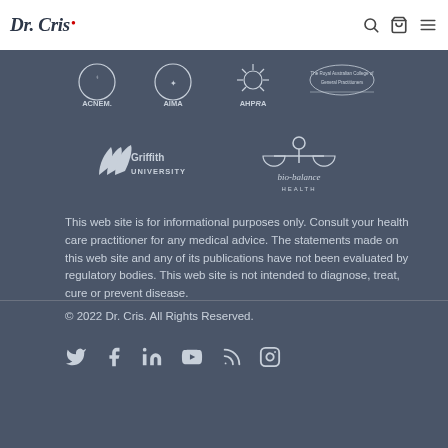Dr. Cris
[Figure (logo): ACNEM, AIMA, AHPRA, The Royal Australian College of General Practitioners logos in white on dark grey background]
[Figure (logo): Griffith University and bio-balance health logos in white on dark grey background]
This web site is for informational purposes only. Consult your health care practitioner for any medical advice. The statements made on this web site and any of its publications have not been evaluated by regulatory bodies. This web site is not intended to diagnose, treat, cure or prevent disease.
© 2022 Dr. Cris. All Rights Reserved.
[Figure (infographic): Social media icons: Twitter, Facebook, LinkedIn, YouTube, RSS, Instagram]